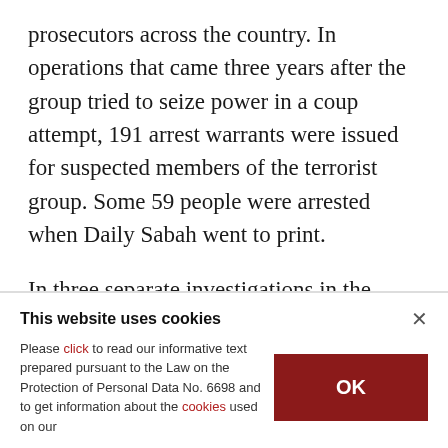prosecutors across the country. In operations that came three years after the group tried to seize power in a coup attempt, 191 arrest warrants were issued for suspected members of the terrorist group. Some 59 people were arrested when Daily Sabah went to print.
In three separate investigations in the capital Ankara, prosecutors issued arrest warrants for 128 people. In one investigation, arrest warrants were
This website uses cookies
Please click to read our informative text prepared pursuant to the Law on the Protection of Personal Data No. 6698 and to get information about the cookies used on our